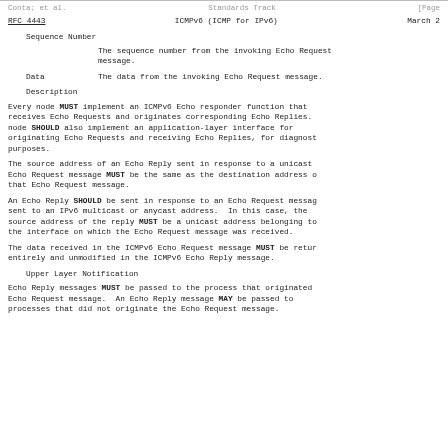Conta; et al.                Standards Track                [Page
RFC 4443          ICMPv6 (ICMP for IPv6)          March 2
Sequence Number

    The sequence number from the invoking Echo Request message.

Data    The data from the invoking Echo Request message.

Description

Every node MUST implement an ICMPv6 Echo responder function that receives Echo Requests and originates corresponding Echo Replies. A node SHOULD also implement an application-layer interface for originating Echo Requests and receiving Echo Replies, for diagnostic purposes.

The source address of an Echo Reply sent in response to a unicast Echo Request message MUST be the same as the destination address of that Echo Request message.

An Echo Reply SHOULD be sent in response to an Echo Request message sent to an IPv6 multicast or anycast address. In this case, the source address of the reply MUST be a unicast address belonging to the interface on which the Echo Request message was received.

The data received in the ICMPv6 Echo Request message MUST be returned entirely and unmodified in the ICMPv6 Echo Reply message.

Upper Layer Notification

Echo Reply messages MUST be passed to the process that originated the Echo Request message. An Echo Reply message MAY be passed to processes that did not originate the Echo Request message.